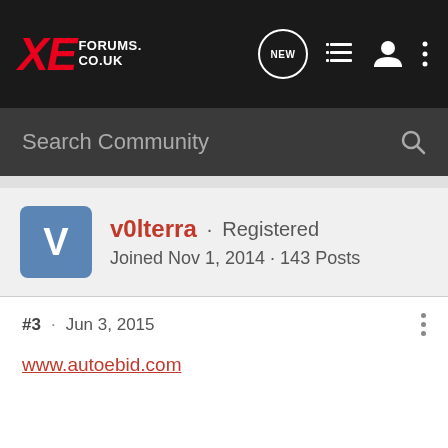XE FORUMS.CO.UK
Search Community
v0lterra · Registered
Joined Nov 1, 2014 · 143 Posts
#3 · Jun 3, 2015
www.autoebid.com
Registered